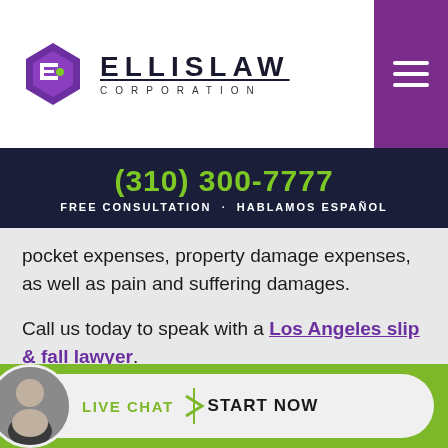[Figure (logo): Ellis Law Corporation logo with purple diamond/shield icon and company name in bold letters with underline, and CORPORATION in spaced letters below]
(310) 300-7777
FREE CONSULTATION · HABLAMOS ESPAÑOL
pocket expenses, property damage expenses, as well as pain and suffering damages.
Call us today to speak with a Los Angeles slip & fall lawyer.
[Figure (infographic): Live Chat Start Now button with attorney photo avatar on green background bar]